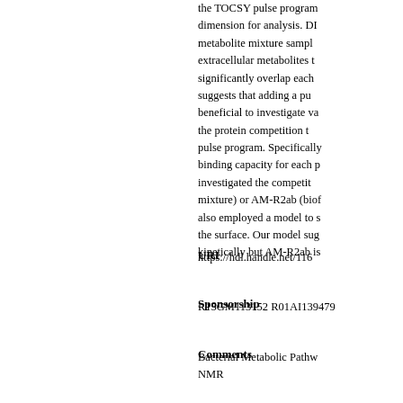the TOCSY pulse program dimension for analysis. DI metabolite mixture sample extracellular metabolites t significantly overlap each suggests that adding a pu beneficial to investigate va the protein competition t pulse program. Specifically binding capacity for each p investigated the competit mixture) or AM-R2ab (biof also employed a model to s the surface. Our model sug kinetically but AM-R2ab is
URI
https://hdl.handle.net/116
Sponsorship
R15GM113152 R01AI139479
Comments
Bacterial Metabolic Pathw NMR